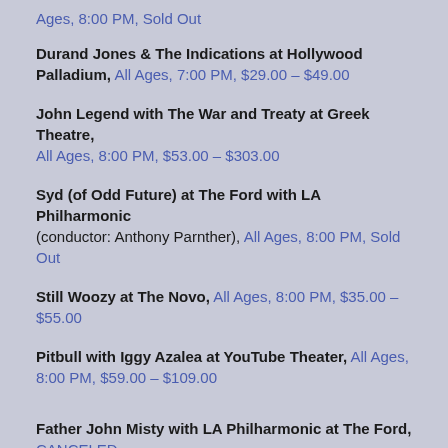Ages, 8:00 PM, Sold Out
Durand Jones & The Indications at Hollywood Palladium, All Ages, 7:00 PM, $29.00 – $49.00
John Legend with The War and Treaty at Greek Theatre, All Ages, 8:00 PM, $53.00 – $303.00
Syd (of Odd Future) at The Ford with LA Philharmonic (conductor: Anthony Parnther), All Ages, 8:00 PM, Sold Out
Still Woozy at The Novo, All Ages, 8:00 PM, $35.00 – $55.00
Pitbull with Iggy Azalea at YouTube Theater, All Ages, 8:00 PM, $59.00 – $109.00
Father John Misty with LA Philharmonic at The Ford, CANCELED